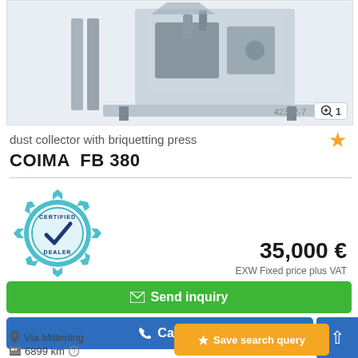[Figure (photo): Product photo of COIMA FB 380 dust collector with briquetting press machine, industrial equipment on light background. Image ID 42342-7. Zoom icon with number 1 in bottom right corner.]
dust collector with briquetting press
COIMA  FB 380
[Figure (logo): Certified Dealer badge - circular teal/blue gear-shaped badge with checkmark and text CERTIFIED DEALER]
35,000 €
EXW Fixed price plus VAT
✉ Send inquiry
✆ Call
↑ (scroll up button)
Via Mitterling
6899 km ?
➤ Save search query